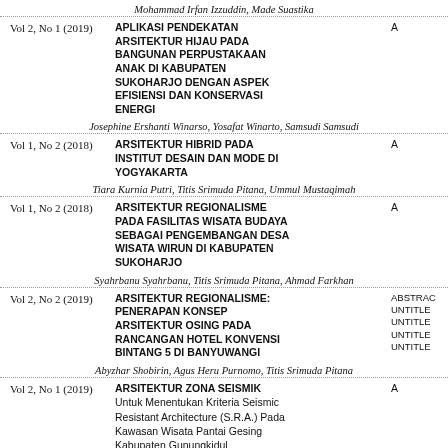Mohammad Irfan Izzuddin, Made Suastika
Vol 2, No 1 (2019) | APLIKASI PENDEKATAN ARSITEKTUR HIJAU PADA BANGUNAN PERPUSTAKAAN ANAK DI KABUPATEN SUKOHARJO DENGAN ASPEK EFISIENSI DAN KONSERVASI ENERGI
Josephine Ershanti Winarso, Yosafat Winarto, Samsudi Samsudi
Vol 1, No 2 (2018) | ARSITEKTUR HIBRID PADA INSTITUT DESAIN DAN MODE DI YOGYAKARTA
Tiara Kurnia Putri, Titis Srimuda Pitana, Ummul Mustaqimah
Vol 1, No 2 (2018) | ARSITEKTUR REGIONALISME PADA FASILITAS WISATA BUDAYA SEBAGAI PENGEMBANGAN DESA WISATA WIRUN DI KABUPATEN SUKOHARJO
Syahrbanu Syahrbanu, Titis Srimuda Pitana, Ahmad Farkhan
Vol 2, No 2 (2019) | ARSITEKTUR REGIONALISME: PENERAPAN KONSEP ARSITEKTUR OSING PADA RANCANGAN HOTEL KONVENSI BINTANG 5 DI BANYUWANGI | ABSTRAC UNTITLE UNTITLE UNTITLE UNTITLE
Abyzhar Shobirin, Agus Heru Purnomo, Titis Srimuda Pitana
Vol 2, No 1 (2019) | ARSITEKTUR ZONA SEISMIK Untuk Menentukan Kriteria Seismic Resistant Architecture (S.R.A.) Pada Kawasan Wisata Pantai Gesing Kabupaten Gunungkidul
Stryani Naraswara, Hardiyati Hardiyati, Ummul Mustaqimah